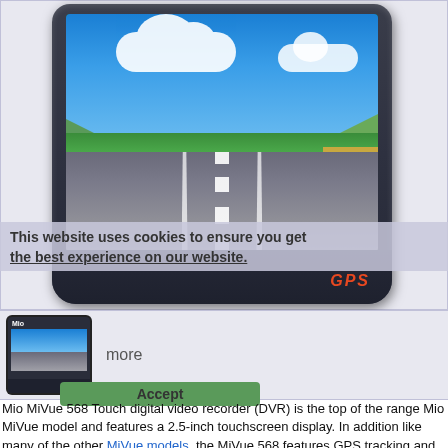[Figure (photo): Mio MiVue GPS dash cam device showing a road scene on screen with blue sky and GPS label on bezel. Cookie consent banner overlaid. Thumbnail image below with 'more' text. Accept button.]
Mio MiVue 568 Touch digital video recorder (DVR) is the top of the range Mio MiVue model and features a 2.5-inch touchscreen display. In addition like many of the other MiVue models, the MiVue 568 features GPS tracking and speed camera warning.